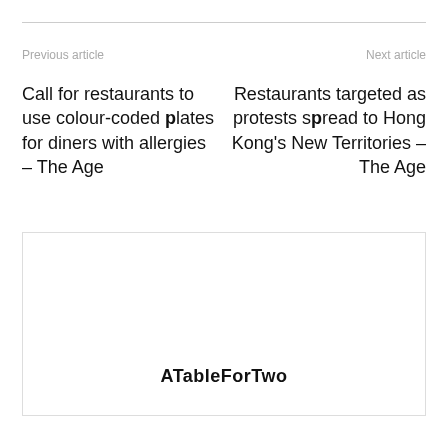Previous article | Next article
Call for restaurants to use colour-coded plates for diners with allergies – The Age
Restaurants targeted as protests spread to Hong Kong's New Territories – The Age
[Figure (other): Advertisement or image box with label ATableForTwo]